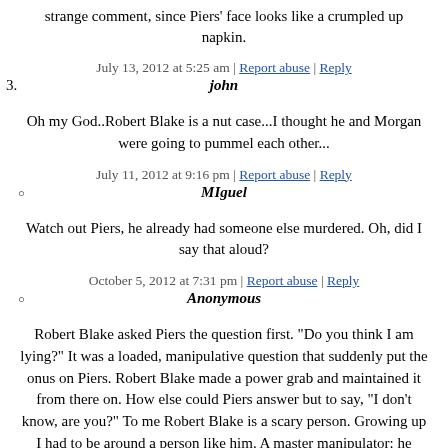strange comment, since Piers' face looks like a crumpled up napkin.
July 13, 2012 at 5:25 am | Report abuse | Reply
3. john
Oh my God..Robert Blake is a nut case...I thought he and Morgan were going to pummel each other...
July 11, 2012 at 9:16 pm | Report abuse | Reply
○ MIguel
Watch out Piers, he already had someone else murdered. Oh, did I say that aloud?
October 5, 2012 at 7:31 pm | Report abuse | Reply
○ Anonymous
Robert Blake asked Piers the question first. "Do you think I am lying?" It was a loaded, manipulative question that suddenly put the onus on Piers. Robert Blake made a power grab and maintained it from there on. How else could Piers answer but to say, "I don't know, are you?" To me Robert Blake is a scary person. Growing up I had to be around a person like him. A master manipulator: he played games with people. To